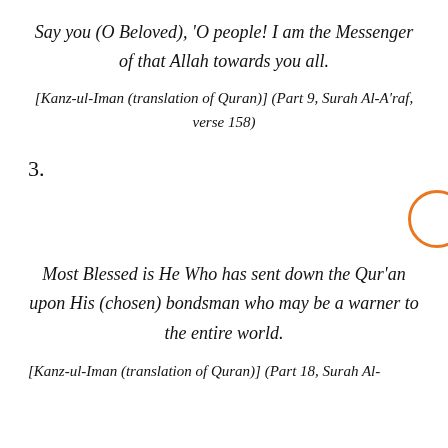Say you (O Beloved), 'O people! I am the Messenger of that Allah towards you all.
[Kanz-ul-Iman (translation of Quran)] (Part 9, Surah Al-A'raf, verse 158)
3.
[Figure (other): Orange circle outline (decorative element) positioned at right side]
Most Blessed is He Who has sent down the Qur'an upon His (chosen) bondsman who may be a warner to the entire world.
[Kanz-ul-Iman (translation of Quran)] (Part 18, Surah Al-